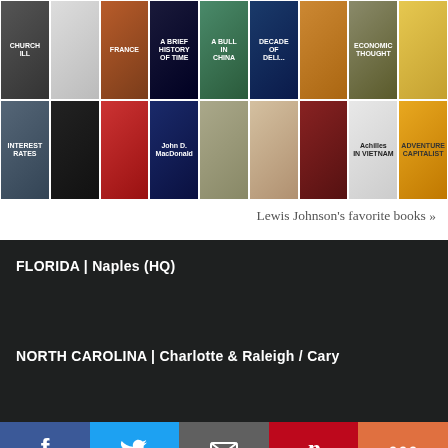[Figure (photo): Grid of book covers arranged in two rows, showing various non-fiction and finance books including titles about Interest Rates, A Brief History of Time, Achilles in Vietnam, Adventure Capitalist, and others.]
Lewis Johnson's favorite books »
FLORIDA | Naples (HQ)
NORTH CAROLINA | Charlotte & Raleigh / Cary
[Figure (infographic): Social media share bar with five buttons: Facebook (blue), Twitter (light blue), Email (grey), Pinterest (red), More (orange-red)]